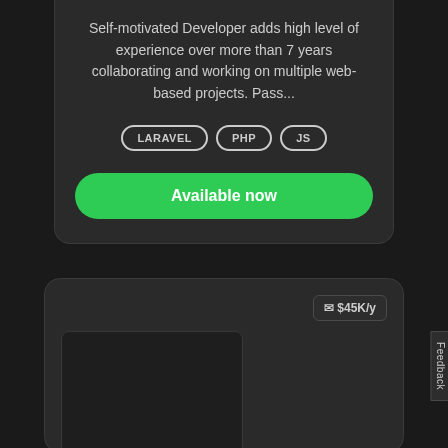Self-motivated Developer adds high level of experience over more than 7 years collaborating and working on multiple web-based projects. Pass...
LARAVEL
PHP
JS
Available now
$45K/y